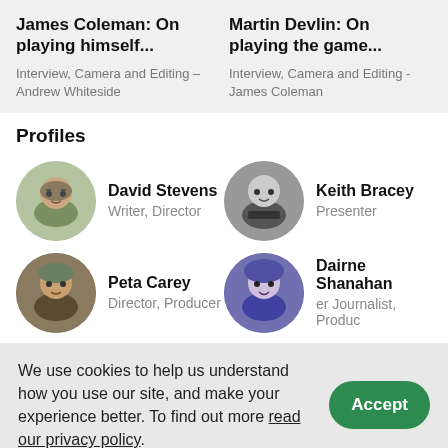James Coleman: On playing himself...
Interview, Camera and Editing – Andrew Whiteside
Martin Devlin: On playing the game...
Interview, Camera and Editing - James Coleman
Profiles
David Stevens
Writer, Director
Keith Bracey
Presenter
Peta Carey
Director, Producer
Dairne Shanahan
er Journalist, Produc
We use cookies to help us understand how you use our site, and make your experience better. To find out more read our privacy policy.